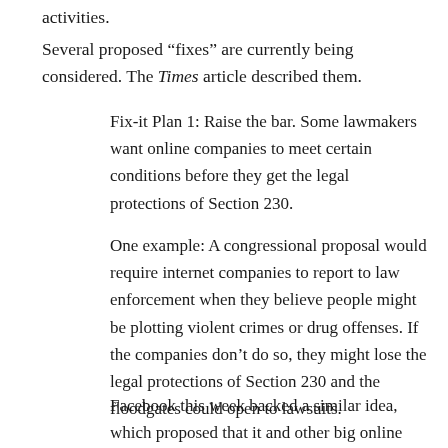activities.
Several proposed “fixes” are currently being considered. The Times article described them.
Fix-it Plan 1: Raise the bar. Some lawmakers want online companies to meet certain conditions before they get the legal protections of Section 230.
One example: A congressional proposal would require internet companies to report to law enforcement when they believe people might be plotting violent crimes or drug offenses. If the companies don’t do so, they might lose the legal protections of Section 230 and the floodgates could open to lawsuits.
Facebook this week backed a similar idea, which proposed that it and other big online companies